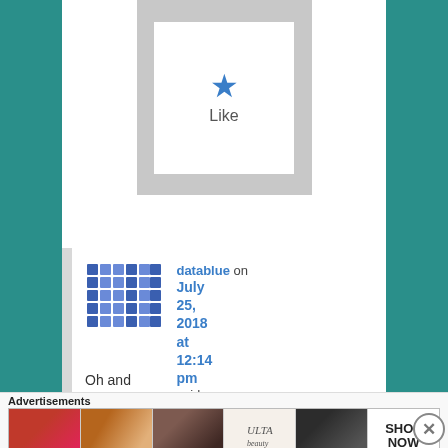[Figure (other): Like button widget with star icon and 'Like' text inside a grey bordered box]
[Figure (other): User avatar for datablue shown as a blue pixel/mosaic pattern icon]
datablue on July 25, 2018 at 12:14 pm said:
Oh and Chirag is
Advertisements
[Figure (photo): Ulta beauty advertisement strip showing makeup images (lips, brush, eyes, Ulta logo, eyeshadow, SHOP NOW)]